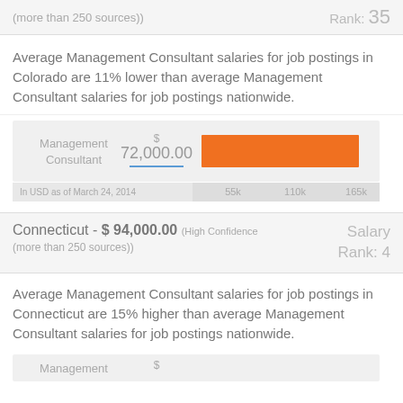(more than 250 sources))
Rank: 35
Average Management Consultant salaries for job postings in Colorado are 11% lower than average Management Consultant salaries for job postings nationwide.
[Figure (bar-chart): Management Consultant $72,000.00]
In USD as of March 24, 2014
Connecticut - $ 94,000.00 (High Confidence (more than 250 sources))
Salary Rank: 4
Average Management Consultant salaries for job postings in Connecticut are 15% higher than average Management Consultant salaries for job postings nationwide.